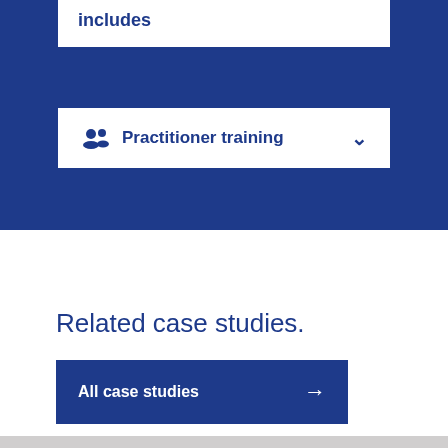includes
Practitioner training
Related case studies.
All case studies →